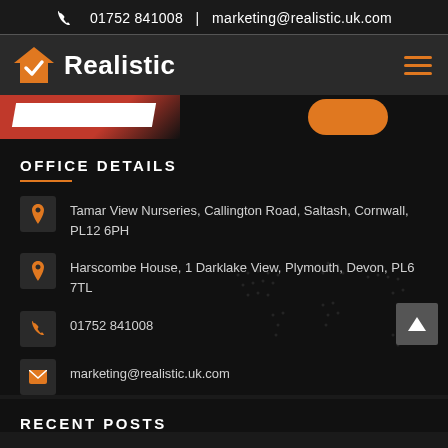📞 01752 841008  |  marketing@realistic.uk.com
[Figure (logo): Realistic logo with orange house/checkmark icon and white bold text 'Realistic']
[Figure (illustration): Dark banner strip with red parallelogram shape on left with white bar, and orange oval on right]
OFFICE DETAILS
Tamar View Nurseries, Callington Road, Saltash, Cornwall, PL12 6PH
Harscombe House, 1 Darklake View, Plymouth, Devon, PL6 7TL
01752 841008
marketing@realistic.uk.com
RECENT POSTS